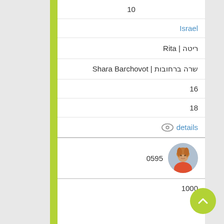10
Israel
Rita | ריטה
Shara Barchovot | שרה ברחובות
16
18
details
[Figure (photo): Circular thumbnail of a woman with red top, singing]
0595
1000